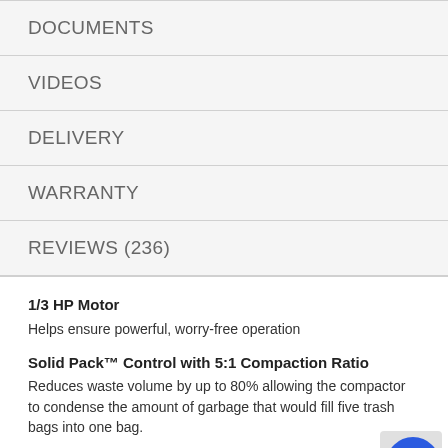DOCUMENTS
VIDEOS
DELIVERY
WARRANTY
REVIEWS (236)
1/3 HP Motor
Helps ensure powerful, worry-free operation
Solid Pack™ Control with 5:1 Compaction Ratio
Reduces waste volume by up to 80% allowing the compactor to condense the amount of garbage that would fill five trash bags into one bag.
Whisper Quiet® Plus
Helps to maintain a quiet home environment while the